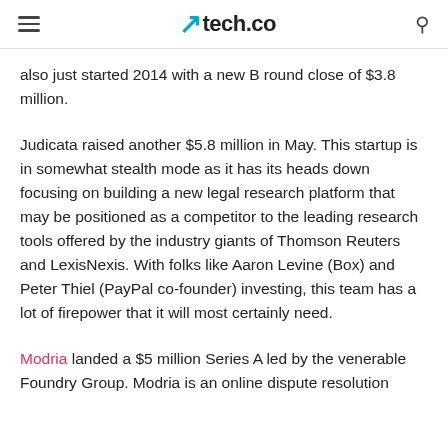tech.co
also just started 2014 with a new B round close of $3.8 million.
Judicata raised another $5.8 million in May. This startup is in somewhat stealth mode as it has its heads down focusing on building a new legal research platform that may be positioned as a competitor to the leading research tools offered by the industry giants of Thomson Reuters and LexisNexis. With folks like Aaron Levine (Box) and Peter Thiel (PayPal co-founder) investing, this team has a lot of firepower that it will most certainly need.
Modria landed a $5 million Series A led by the venerable Foundry Group. Modria is an online dispute resolution